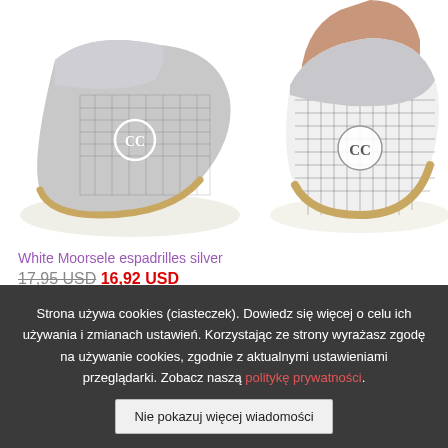[Figure (photo): Two silver and white tweed espadrille shoes with circular logo embellishment and rope soles, photographed on white background]
White Moorsele espadrilles silver
17,95 USD 16,92 USD
37   38   39   40
Strona używa cookies (ciasteczek). Dowiedz się więcej o celu ich używania i zmianach ustawień. Korzystając ze strony wyrażasz zgodę na używanie cookies, zgodnie z aktualnymi ustawieniami przeglądarki. Zobacz naszą politykę prywatności.
Nie pokazuj więcej wiadomości